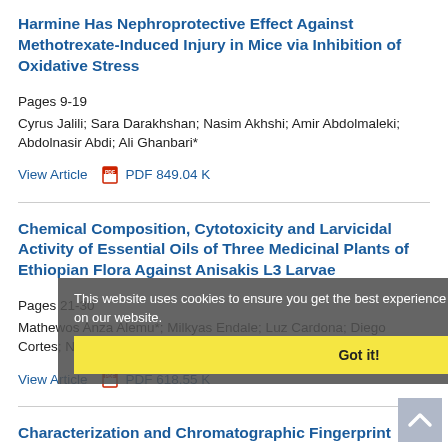Harmine Has Nephroprotective Effect Against Methotrexate-Induced Injury in Mice via Inhibition of Oxidative Stress
Pages 9-19
Cyrus Jalili; Sara Darakhshan; Nasim Akhshi; Amir Abdolmaleki; Abdolnasir Abdi; Ali Ghanbari*
View Article   PDF 849.04 K
Chemical Composition, Cytotoxicity and Larvicidal Activity of Essential Oils of Three Medicinal Plants of Ethiopian Flora Against Anisakis L3 Larvae
Pages 21-30
Mathewos Anza Alemu*; Milkyas Endale; Luz Cardona; Diego Cortes; Nuria Cabedo; Maria Trelis; Marius V. Fuentes; Belen Abarca
View Article   PDF 618.55 K
This website uses cookies to ensure you get the best experience on our website.
Got it!
Characterization and Chromatographic Fingerprint